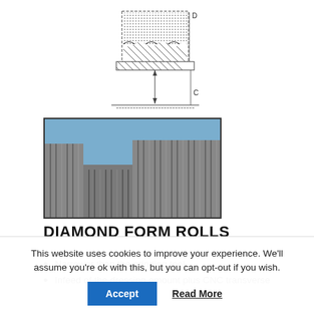[Figure (schematic): Engineering cross-section diagram of a diamond form roll showing the roll profile narrower than the grinding wheel, with dimension arrows labeled D and C, hatching patterns indicating the wheel body, and dotted pattern for diamond layer.]
[Figure (photo): Photograph of diamond form rolls showing stone/abrasive blocks with vertical grooves, viewed from above against a blue sky background.]
DIAMOND FORM ROLLS
Narrower than the grinding tool
Infeed of the dressing amount plus CNC transverse
This website uses cookies to improve your experience. We'll assume you're ok with this, but you can opt-out if you wish.